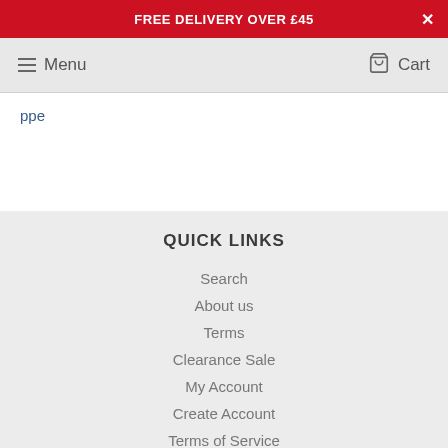FREE DELIVERY OVER £45
Menu   Cart
ppe
QUICK LINKS
Search
About us
Terms
Clearance Sale
My Account
Create Account
Terms of Service